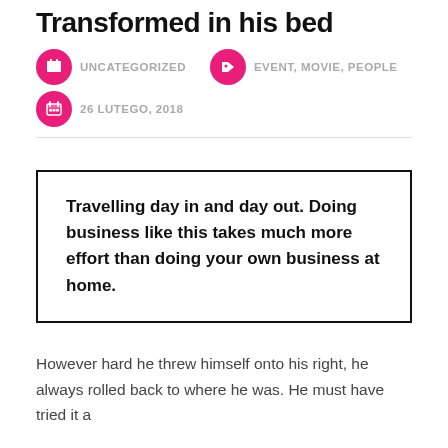Transformed in his bed
UNCATEGORIZED   EVENT, MOVIE, PEOPLE
26 LUTEGO, 2018
Travelling day in and day out. Doing business like this takes much more effort than doing your own business at home.
However hard he threw himself onto his right, he always rolled back to where he was. He must have tried it a